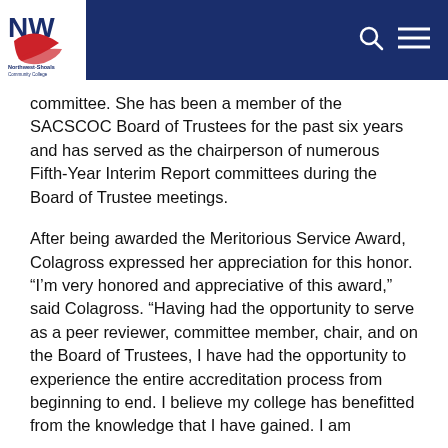[Figure (logo): Northwest-Shoals Community College logo: NW letters with red swoosh and college name below, on white background within blue header bar]
committee. She has been a member of the SACSCOC Board of Trustees for the past six years and has served as the chairperson of numerous Fifth-Year Interim Report committees during the Board of Trustee meetings.
After being awarded the Meritorious Service Award, Colagross expressed her appreciation for this honor. “I’m very honored and appreciative of this award,” said Colagross. “Having had the opportunity to serve as a peer reviewer, committee member, chair, and on the Board of Trustees, I have had the opportunity to experience the entire accreditation process from beginning to end. I believe my college has benefitted from the knowledge that I have gained. I am